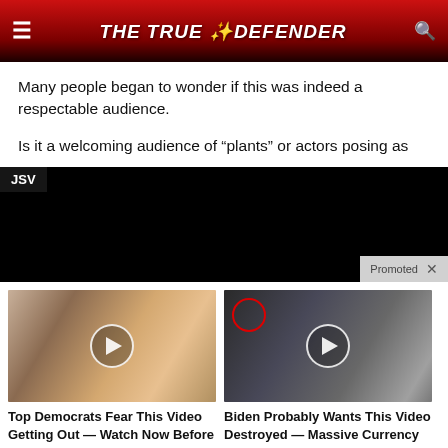THE TRUE DEFENDER
Many people began to wonder if this was indeed a respectable audience.
Is it a welcoming audience of “plants” or actors posing as
[Figure (screenshot): Video embed placeholder with JSV label, black background, Promoted label with X close button]
[Figure (photo): Thumbnail of Trump and woman, with play button overlay. Ad card: Top Democrats Fear This Video Getting Out — Watch Now Before It's Banned. Views: 317,175]
[Figure (photo): Thumbnail of group of men in suits at CIA seal, with red circle highlight and play button overlay. Ad card: Biden Probably Wants This Video Destroyed — Massive Currency Upheaval Has Started. Views: 307,584]
Top Democrats Fear This Video Getting Out — Watch Now Before It's Banned
Biden Probably Wants This Video Destroyed — Massive Currency Upheaval Has Started